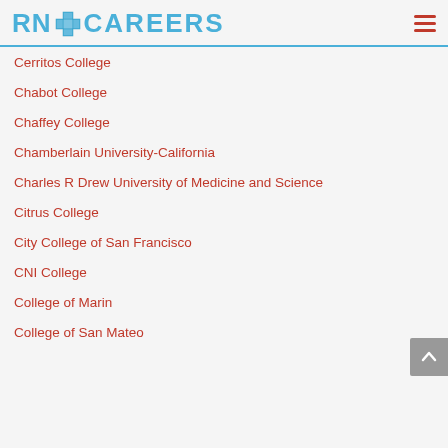RN+ CAREERS
Cerritos College
Chabot College
Chaffey College
Chamberlain University-California
Charles R Drew University of Medicine and Science
Citrus College
City College of San Francisco
CNI College
College of Marin
College of San Mateo